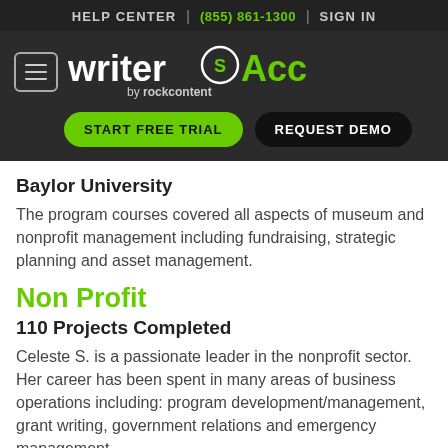HELP CENTER | (855) 861-1300 | SIGN IN
[Figure (logo): WriterAccess by rockcontent logo with hamburger menu, START FREE TRIAL and REQUEST DEMO buttons on dark background]
Baylor University
The program courses covered all aspects of museum and nonprofit management including fundraising, strategic planning and asset management.
Non Profit
110 Projects Completed
Celeste S. is a passionate leader in the nonprofit sector. Her career has been spent in many areas of business operations including: program development/management, grant writing, government relations and emergency management.